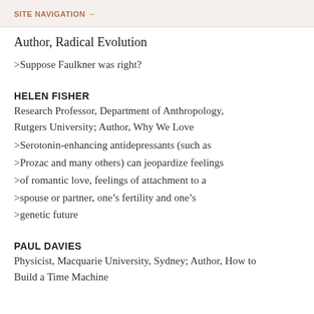SITE NAVIGATION →
Author, Radical Evolution
>Suppose Faulkner was right?
HELEN FISHER
Research Professor, Department of Anthropology, Rutgers University; Author, Why We Love
>Serotonin-enhancing antidepressants (such as >Prozac and many others) can jeopardize feelings >of romantic love, feelings of attachment to a >spouse or partner, one's fertility and one's >genetic future
PAUL DAVIES
Physicist, Macquarie University, Sydney; Author, How to Build a Time Machine